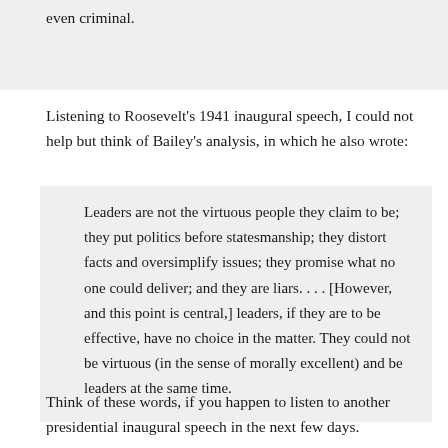even criminal.
Listening to Roosevelt’s 1941 inaugural speech, I could not help but think of Bailey’s analysis, in which he also wrote:
Leaders are not the virtuous people they claim to be; they put politics before statesmanship; they distort facts and oversimplify issues; they promise what no one could deliver; and they are liars. . . . [However, and this point is central,] leaders, if they are to be effective, have no choice in the matter. They could not be virtuous (in the sense of morally excellent) and be leaders at the same time.
Think of these words, if you happen to listen to another presidential inaugural speech in the next few days.